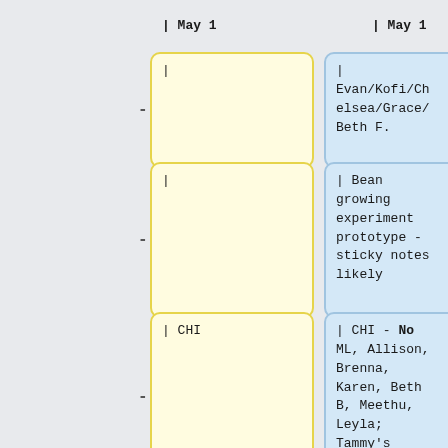| May 1
| May 1
|
| Evan/Kofi/Chelsea/Grace/Beth F.
|
| Bean growing experiment prototype - sticky notes likely
| CHI
| CHI - No ML, Allison, Brenna, Karen, Beth B, Meethu, Leyla; Tammy's class visit?